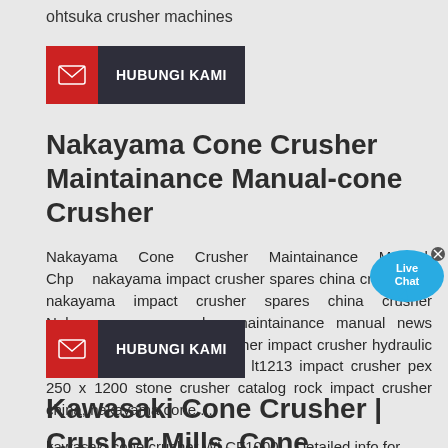ohtsuka crusher machines
[Figure (other): HUBUNGI KAMI button with red envelope icon on dark background]
Nakayama Cone Crusher Maintainance Manual-cone Crusher
Nakayama Cone Crusher Maintainance Manual. Chp nakayama impact crusher spares china crusher p nakayama impact crusher spares china crusher Nakayama cone crusher maintainance manual news center jaw crusher cone crusher impact crusher hydraulic crusher pdf ppt and parts fo lt1213 impact crusher pex 250 x 1200 stone crusher catalog rock impact crusher china, nakayama cone ...
[Figure (other): HUBUNGI KAMI button with red envelope icon on dark background]
Kawasaki Cone Crusher | Crusher Mills, Cone Crusher, Jaw ...
kawasaki cone crusher WLCF1000 – Detailed info for